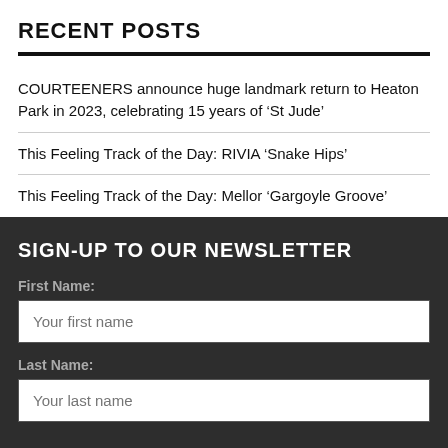RECENT POSTS
COURTEENERS announce huge landmark return to Heaton Park in 2023, celebrating 15 years of ‘St Jude’
This Feeling Track of the Day: RIVIA ‘Snake Hips’
This Feeling Track of the Day: Mellor ‘Gargoyle Groove’
SIGN-UP TO OUR NEWSLETTER
First Name:
Your first name
Last Name:
Your last name